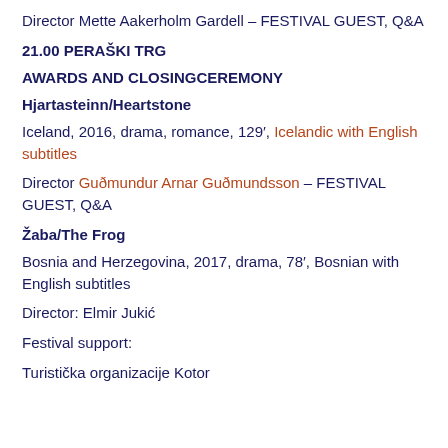Director Mette Aakerholm Gardell – FESTIVAL GUEST, Q&A
21.00 PERAŠKI TRG
AWARDS AND CLOSINGCEREMONY
Hjartasteinn/Heartstone
Iceland, 2016, drama, romance, 129′, Icelandic with English subtitles
Director Guðmundur Arnar Guðmundsson – FESTIVAL GUEST, Q&A
Žaba/The Frog
Bosnia and Herzegovina, 2017, drama, 78′, Bosnian with English subtitles
Director: Elmir Jukić
Festival support:
Turistička organizacije Kotor